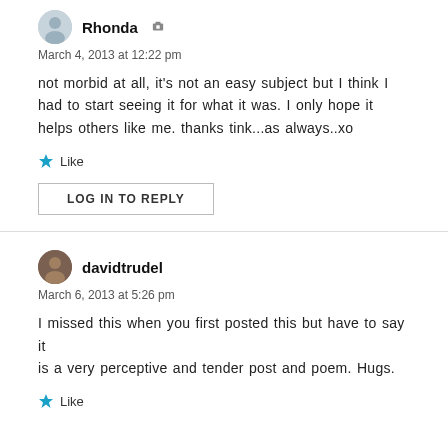Rhonda
March 4, 2013 at 12:22 pm
not morbid at all, it's not an easy subject but I think I had to start seeing it for what it was. I only hope it helps others like me. thanks tink...as always..xo
Like
LOG IN TO REPLY
davidtrudel
March 6, 2013 at 5:26 pm
I missed this when you first posted this but have to say it is a very perceptive and tender post and poem. Hugs.
Like